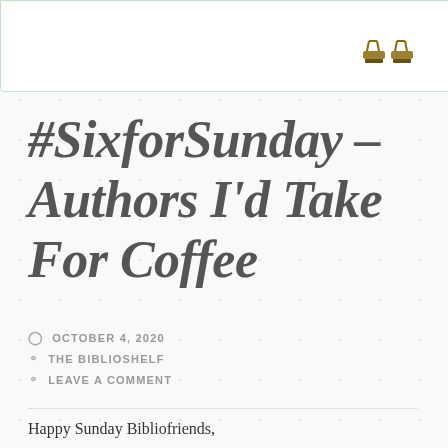[Figure (illustration): Partial top banner image showing sandals/feet at the top right corner, with a white background and green border.]
#SixforSunday – Authors I'd Take For Coffee
OCTOBER 4, 2020
THE BIBLIOSHELF
LEAVE A COMMENT
Happy Sunday Bibliofriends,